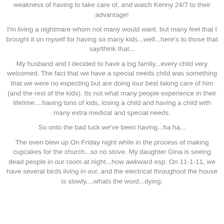weakness of having to take care of, and watch Kenny 24/7 to their advantage!
I'm living a nightmare whom not many would want. but many feel that I brought it on myself for having so many kids...well...here's to those that say/think that...
My husband and I decided to have a big family...every child very welcomed. The fact that we have a special needs child was something that we were no expecting but are doing lour best taking care of him (and the rest of the kids). Its not what many people experience in their lifetime....having tons of kids, losing a child and having a child with many extra medical and special needs.
So onto the bad luck we've been having...ha ha...
The oven blew up On Friday night while in the process of making cupcakes for the church...so no stove. My daughter Gina is seeing dead people in our room at night...how awkward esp. On 11-1-11, we have several birds living in our, and the electrical throughout the house is slowly....whats the word...dying.